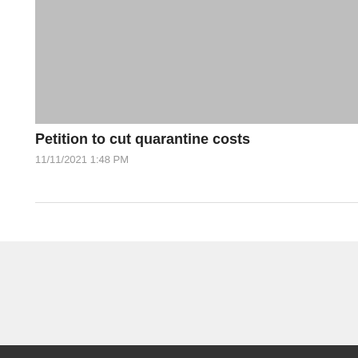[Figure (photo): Gray placeholder image at top of article card]
Petition to cut quarantine costs
11/11/2021 1:48 PM
What are you looking for?